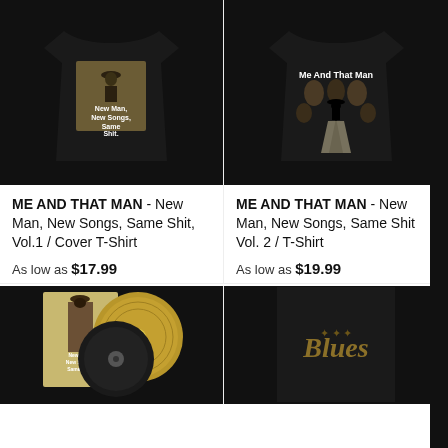[Figure (photo): Black t-shirt with 'New Man, New Songs, Same Shit, Vol.1' album cover graphic]
[Figure (photo): Black t-shirt with 'Me And That Man' graphic on back, showing silhouette figure and faces]
ME AND THAT MAN - New Man, New Songs, Same Shit, Vol.1 / Cover T-Shirt
As low as $17.99
ME AND THAT MAN - New Man, New Songs, Same Shit Vol. 2 / T-Shirt
As low as $19.99
[Figure (photo): Vinyl record with black and gold vinyl partially visible beside album cover artwork]
[Figure (photo): Black t-shirt with 'Blues' gothic lettering on back]